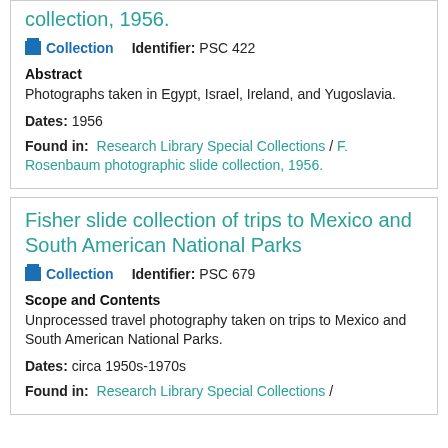collection, 1956.
Collection   Identifier: PSC 422
Abstract
Photographs taken in Egypt, Israel, Ireland, and Yugoslavia.
Dates: 1956
Found in: Research Library Special Collections / F. Rosenbaum photographic slide collection, 1956.
Fisher slide collection of trips to Mexico and South American National Parks
Collection   Identifier: PSC 679
Scope and Contents
Unprocessed travel photography taken on trips to Mexico and South American National Parks.
Dates: circa 1950s-1970s
Found in: Research Library Special Collections /